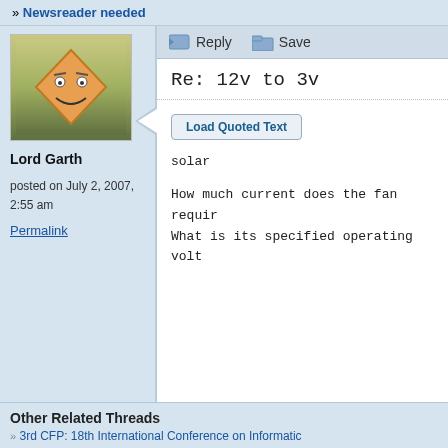» Newsreader needed
[Figure (illustration): Avatar image showing a cartoon diamond-shaped face character with eyes and a smile, on a green gradient background]
Lord Garth
posted on July 2, 2007, 2:55 am
Permalink
Re: 12v to 3v
Load Quoted Text
solar
How much current does the fan requir
What is its specified operating volt
Other Related Threads
» 3rd CFP: 18th International Conference on Informatic